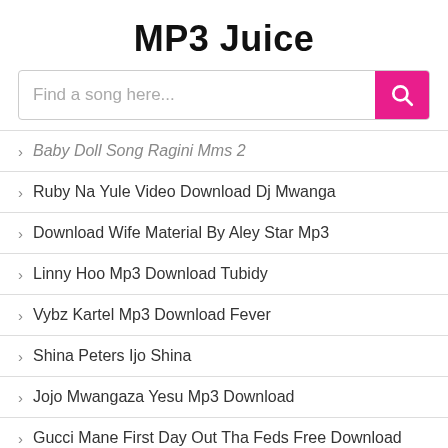MP3 Juice
Find a song here...
Baby Doll Song Ragini Mms 2
Ruby Na Yule Video Download Dj Mwanga
Download Wife Material By Aley Star Mp3
Linny Hoo Mp3 Download Tubidy
Vybz Kartel Mp3 Download Fever
Shina Peters Ijo Shina
Jojo Mwangaza Yesu Mp3 Download
Gucci Mane First Day Out Tha Feds Free Download
Download Ed Sheeran Bad Habit
Amigo Mp3
Latest Trend Mp3 Download
Bella Non Ti Passa Più